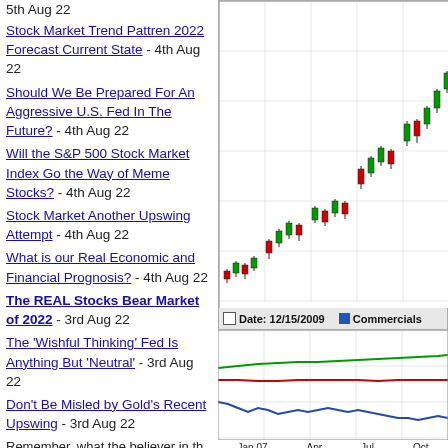5th Aug 22
Stock Market Trend Pattren 2022 Forecast Current State - 4th Aug 22
Should We Be Prepared For An Aggressive U.S. Fed In The Future? - 4th Aug 22
Will the S&P 500 Stock Market Index Go the Way of Meme Stocks? - 4th Aug 22
Stock Market Another Upswing Attempt - 4th Aug 22
What is our Real Economic and Financial Prognosis? - 4th Aug 22
The REAL Stocks Bear Market of 2022 - 3rd Aug 22
The 'Wishful Thinking' Fed Is Anything But 'Neutral' - 3rd Aug 22
Don't Be Misled by Gold's Recent Upswing - 3rd Aug 22
[Figure (continuous-plot): Candlestick stock chart showing price action from Jan 07 through Oct with green and red candles indicating upward trend. Below is a multi-line indicator chart with green, red, and blue lines. Date indicator shows 12/15/2009. Legend shows Commercials.]
Remember, what the believer in th